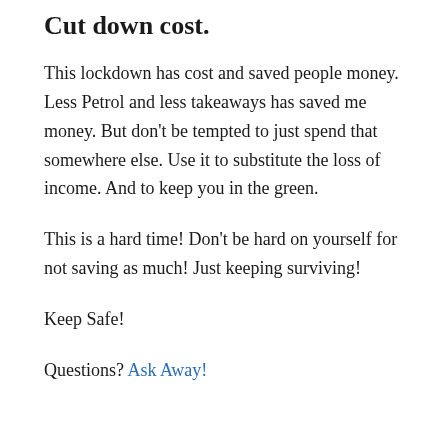Cut down cost.
This lockdown has cost and saved people money. Less Petrol and less takeaways has saved me money. But don't be tempted to just spend that somewhere else. Use it to substitute the loss of income. And to keep you in the green.
This is a hard time! Don't be hard on yourself for not saving as much! Just keeping surviving!
Keep Safe!
Questions? Ask Away!